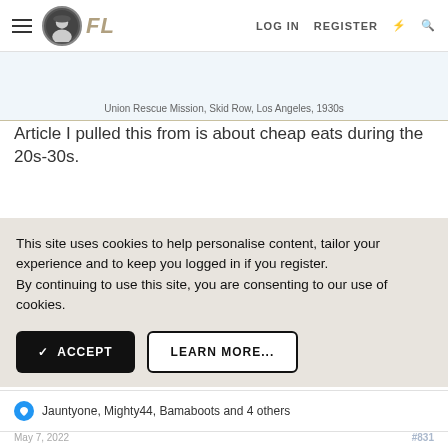FL  LOG IN  REGISTER
Union Rescue Mission, Skid Row, Los Angeles, 1930s
Article I pulled this from is about cheap eats during the 20s-30s.
This site uses cookies to help personalise content, tailor your experience and to keep you logged in if you register.
By continuing to use this site, you are consenting to our use of cookies.
✓ ACCEPT    LEARN MORE...
Jauntyone, Mighty44, Bamaboots and 4 others
May 7, 2022    #831